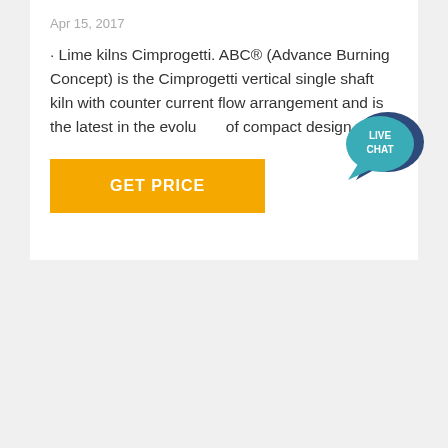Apr 15, 2017
· Lime kilns Cimprogetti. ABC® (Advance Burning Concept) is the Cimprogetti vertical single shaft kiln with counter current flow arrangement and is the latest in the evolution of compact design.
[Figure (other): Live Chat speech bubble icon with teal/blue color and white text reading LIVE CHAT]
GET PRICE